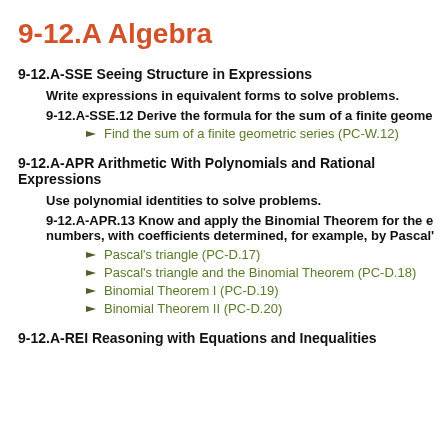9-12.A Algebra
9-12.A-SSE Seeing Structure in Expressions
Write expressions in equivalent forms to solve problems.
9-12.A-SSE.12 Derive the formula for the sum of a finite geome...
Find the sum of a finite geometric series (PC-W.12)
9-12.A-APR Arithmetic With Polynomials and Rational Expressions
Use polynomial identities to solve problems.
9-12.A-APR.13 Know and apply the Binomial Theorem for the e... numbers, with coefficients determined, for example, by Pascal'...
Pascal's triangle (PC-D.17)
Pascal's triangle and the Binomial Theorem (PC-D.18)
Binomial Theorem I (PC-D.19)
Binomial Theorem II (PC-D.20)
9-12.A-REI Reasoning with Equations and Inequalities